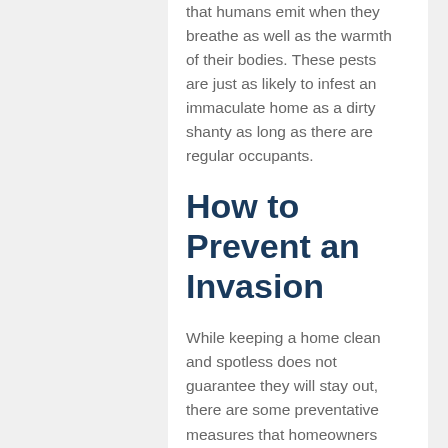that humans emit when they breathe as well as the warmth of their bodies. These pests are just as likely to infest an immaculate home as a dirty shanty as long as there are regular occupants.
How to Prevent an Invasion
While keeping a home clean and spotless does not guarantee they will stay out, there are some preventative measures that homeowners and renters can take.
Since the most likely origin of infestations is from hotel rooms, travelers are advised to wash their clothing with hot, soapy water after returning home. All fabrics should be washed regardless of whether or not the clothing was worn while away from home. Experts advise that this process be done immediately upon return.